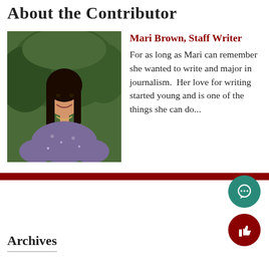About the Contributor
[Figure (photo): Photo of Mari Brown, a young woman with long dark hair, smiling, wearing a floral top, with green foliage in the background.]
Mari Brown, Staff Writer
For as long as Mari can remember she wanted to write and major in journalism. Her love for writing started young and is one of the things she can do...
Archives